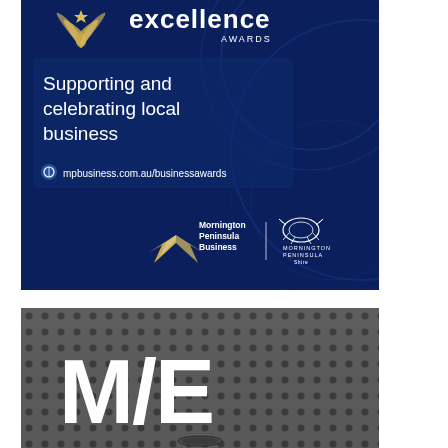[Figure (illustration): Mornington Peninsula Business Excellence Awards promotional banner. Dark blue background with circular decorative elements. Text: 'excellence AWARDS', 'Supporting and celebrating local business', 'mpbusiness.com.au/businessawards'. Logos for Mornington Peninsula Business and Mornington Peninsula Shire at bottom.]
[Figure (photo): Dark grey perforated metal surface (speaker grille texture) with large white 'M/E' text and a small oval speaker element visible at the bottom center.]